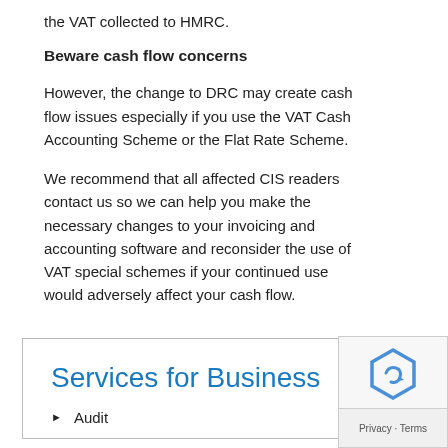the VAT collected to HMRC.
Beware cash flow concerns
However, the change to DRC may create cash flow issues especially if you use the VAT Cash Accounting Scheme or the Flat Rate Scheme.
We recommend that all affected CIS readers contact us so we can help you make the necessary changes to your invoicing and accounting software and reconsider the use of VAT special schemes if your continued use would adversely affect your cash flow.
Services for Business
Audit